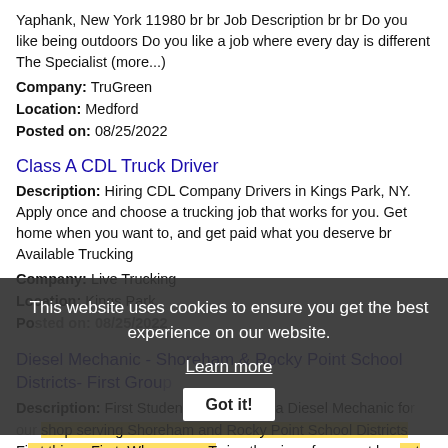Yaphank, New York 11980 br br Job Description br br Do you like being outdoors Do you like a job where every day is different The Specialist (more...)
Company: TruGreen
Location: Medford
Posted on: 08/25/2022
Class A CDL Truck Driver
Description: Hiring CDL Company Drivers in Kings Park, NY. Apply once and choose a trucking job that works for you. Get home when you want to, and get paid what you deserve br Available Trucking
Company: Live Trucking
Location: Kings Park
Posted on: 08/25/2022
Diesel Mechanic - Shoreham & Rocky Point School Districts- First Group
Description: First Student is now hiring a Diesel Mechanic for our shop serving Shoreham and Rocky Point School Districts First things First: Who are we Twice the size of our next largest competitor, First Student (more...)
Company: First Group
Location: Shoreham
This website uses cookies to ensure you get the best experience on our website. Learn more Got it!